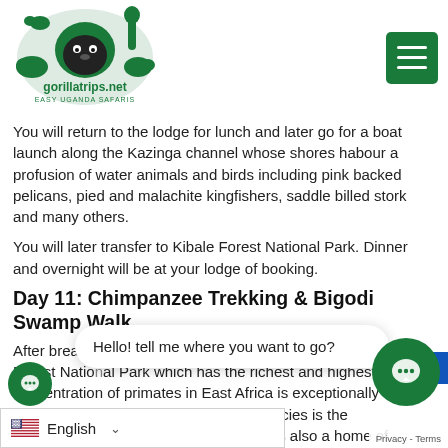gorillatrips.net - logo and navigation
You will return to the lodge for lunch and later go for a boat launch along the Kazinga channel whose shores habour a profusion of water animals and birds including pink backed pelicans, pied and malachite kingfishers, saddle billed stork and many others.
You will later transfer to Kibale Forest National Park. Dinner and overnight will be at your lodge of booking.
Day 11: Chimpanzee Trekking & Bigodi Swamp Walk
After breakfast you will go for chimpanzee trekking in Kibale Forest National Park which has the richest and highest concentration of primates in East Africa is exceptionally represented. The most famous of its species is the Chimpanzee known to be a delightful it is also a home of species like the rare l'Hoest's te Colobus, Blue monkey, ed tailed monkey, Oliv